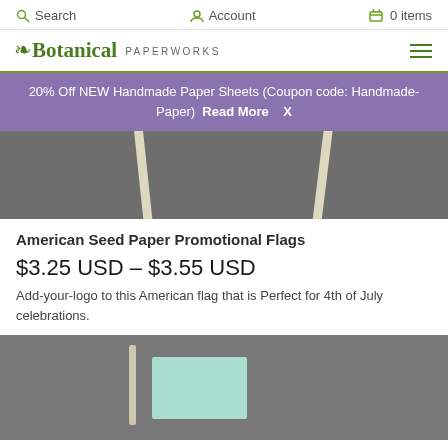Search   Account   0 items
[Figure (logo): Botanical Paperworks logo with leaf icon and hamburger menu]
20% Off NEW Handmade Paper Sheets (Coupon code: Handmade-Paper)  Read More  X
[Figure (photo): Close-up photo of wooden sticks/stakes on grey background]
American Seed Paper Promotional Flags
$3.25 USD – $3.55 USD
Add-your-logo to this American flag that is Perfect for 4th of July celebrations.
[Figure (photo): Photo of a light teal/mint colored seed paper flag on a stick against grey background]